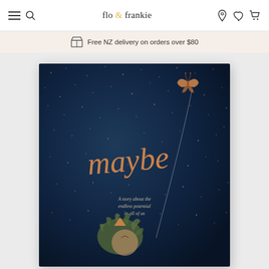flo & frankie — navigation bar with menu, search, location, wishlist, cart icons
Free NZ delivery on orders over $80
[Figure (illustration): Book cover of 'maybe' — dark navy starry night sky background, large peach/gold cursive script reading 'maybe', a butterfly attached to a string in upper right, subtitle text 'A story about the endless potential in all of us', child character with leafy hair in lower portion looking upward]